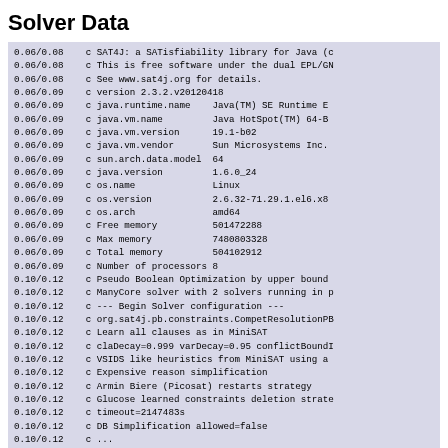Solver Data
0.06/0.08    c SAT4J: a SATisfiability library for Java (c
0.06/0.08    c This is free software under the dual EPL/GN
0.06/0.08    c See www.sat4j.org for details.
0.06/0.09    c version 2.3.2.v20120418
0.06/0.09    c java.runtime.name    Java(TM) SE Runtime E
0.06/0.09    c java.vm.name         Java HotSpot(TM) 64-B
0.06/0.09    c java.vm.version      19.1-b02
0.06/0.09    c java.vm.vendor       Sun Microsystems Inc.
0.06/0.09    c sun.arch.data.model  64
0.06/0.09    c java.version         1.6.0_24
0.06/0.09    c os.name              Linux
0.06/0.09    c os.version           2.6.32-71.29.1.el6.x8
0.06/0.09    c os.arch              amd64
0.06/0.09    c Free memory          501472288
0.06/0.09    c Max memory           7480803328
0.06/0.09    c Total memory         504102912
0.06/0.09    c Number of processors 8
0.10/0.12    c Pseudo Boolean Optimization by upper bound
0.10/0.12    c ManyCore solver with 2 solvers running in p
0.10/0.12    c --- Begin Solver configuration ---
0.10/0.12    c org.sat4j.pb.constraints.CompetResolutionPB
0.10/0.12    c Learn all clauses as in MiniSAT
0.10/0.12    c claDecay=0.999 varDecay=0.95 conflictBoundI
0.10/0.12    c VSIDS like heuristics from MiniSAT using a
0.10/0.12    c Expensive reason simplification
0.10/0.12    c Armin Biere (Picosat) restarts strategy
0.10/0.12    c Glucose learned constraints deletion strate
0.10/0.12    c timeout=2147483s
0.10/0.12    c DB Simplification allowed=false
0.10/0.12    c ...